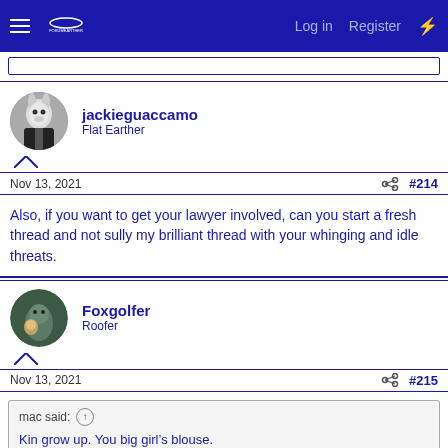Log in  Register
jackieguaccamo
Flat Earther
Nov 13, 2021   #214
Also, if you want to get your lawyer involved, can you start a fresh thread and not sully my brilliant thread with your whinging and idle threats.
Foxgolfer
Roofer
Nov 13, 2021   #215
mac said: ↑
Kin grow up. You big girl's blouse.